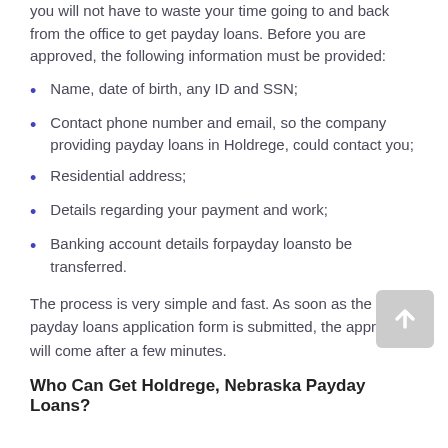you will not have to waste your time going to and back from the office to get payday loans. Before you are approved, the following information must be provided:
Name, date of birth, any ID and SSN;
Contact phone number and email, so the company providing payday loans in Holdrege, could contact you;
Residential address;
Details regarding your payment and work;
Banking account details forpayday loansto be transferred.
The process is very simple and fast. As soon as the payday loans application form is submitted, the approval will come after a few minutes.
Who Can Get Holdrege, Nebraska Payday Loans?